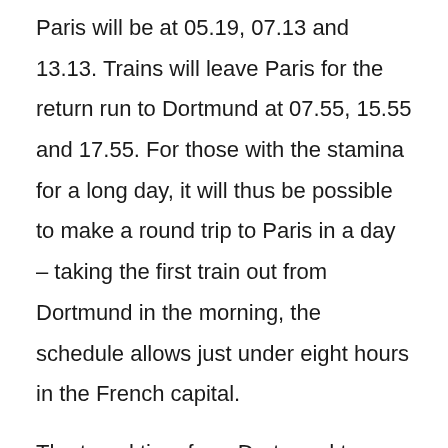Paris will be at 05.19, 07.13 and 13.13. Trains will leave Paris for the return run to Dortmund at 07.55, 15.55 and 17.55. For those with the stamina for a long day, it will thus be possible to make a round trip to Paris in a day – taking the first train out from Dortmund in the morning, the schedule allows just under eight hours in the French capital.
The travel time from Dortmund to Paris will be 4 hrs 46 mins. All trains will serve Liège and Brussels. The fastest travel time from Dortmund